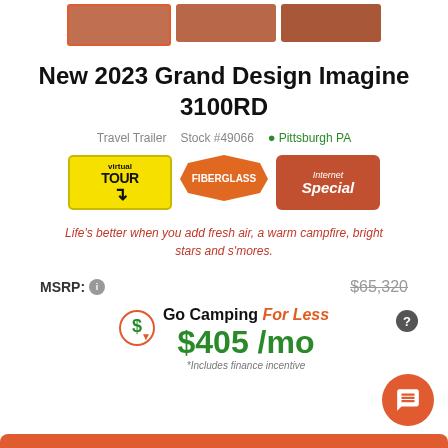[Figure (photo): Three thumbnail images of a travel trailer, top strip]
New 2023 Grand Design Imagine 3100RD
Travel Trailer   Stock #49066   Pittsburgh PA
[Figure (infographic): Three badges: Virtual Tour (yellow), Fiberglass (orange starburst), Internet Special (brown/red rectangle)]
Life's better when you add fresh air, a warm campfire, bright stars and s'mores.
MSRP: $65,320
Go Camping For Less $405 /mo *Includes finance incentive